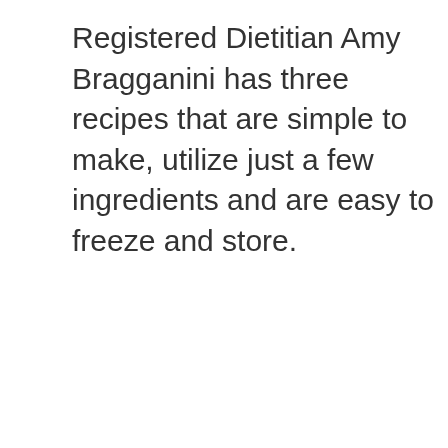Registered Dietitian Amy Bragganini has three recipes that are simple to make, utilize just a few ingredients and are easy to freeze and store.